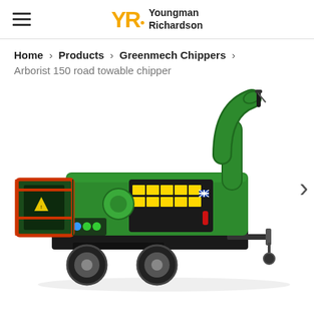Youngman Richardson
Home › Products › Greenmech Chippers › Arborist 150 road towable chipper
[Figure (photo): Greenmech Arborist 150 road towable wood chipper on a trailer, green body with orange feed tray, curved green discharge chute, warning labels, shown against white background]